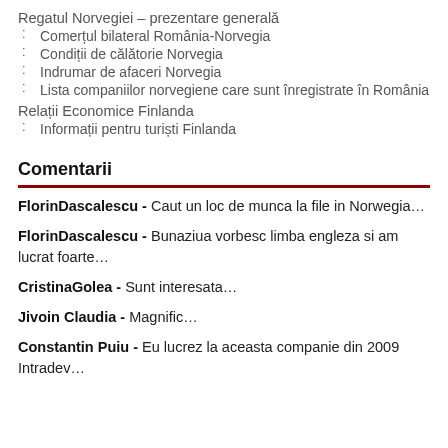Regatul Norvegiei – prezentare generală
Comerțul bilateral România-Norvegia
Condiții de călătorie Norvegia
Indrumar de afaceri Norvegia
Lista companiilor norvegiene care sunt înregistrate în România
Relații Economice Finlanda
Informații pentru turiști Finlanda
Comentarii
FlorinDascalescu - Caut un loc de munca la file in Norwegia…
FlorinDascalescu - Bunaziua vorbesc limba engleza si am lucrat foarte…
CristinaGolea - Sunt interesata…
Jivoin Claudia - Magnific…
Constantin Puiu - Eu lucrez la aceasta companie din 2009 Intradev…